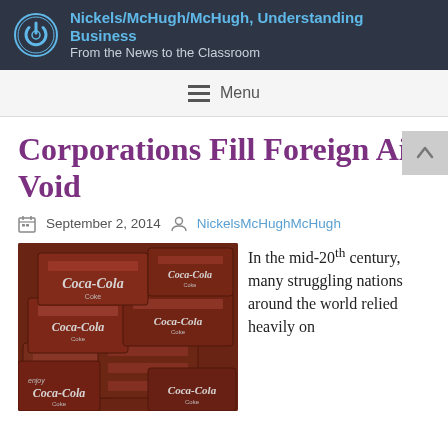Nickels/McHugh/McHugh, Understanding Business
From the News to the Classroom
Menu
Corporations Fill Foreign Aid Void
September 2, 2014   NickelsMcHughMcHugh
[Figure (photo): Stack of vintage wooden Coca-Cola crates, red with white Coca-Cola branding/logos]
In the mid-20th century, many struggling nations around the world relied heavily on